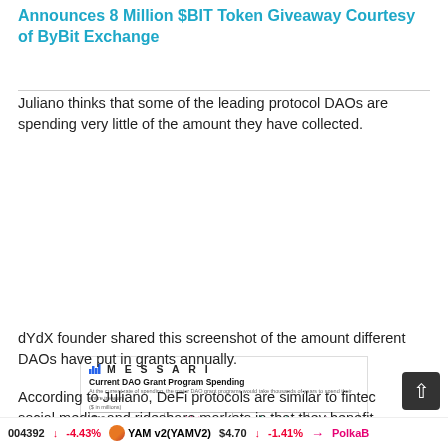Announces 8 Million $BIT Token Giveaway Courtesy of ByBit Exchange
Juliano thinks that some of the leading protocol DAOs are spending very little of the amount they have collected.
[Figure (screenshot): Messari table showing Current DAO Grant Program Spending for Uniswap, Compound, and Aave including Treasury Balance, Annualized Grant Spending, Percent of Treasury, and Years Needed to Spend Entire Balance.]
dYdX founder shared this screenshot of the amount different DAOs have put in grants annually.
According to Juliano, DeFi protocols are similar to fintech social media, and rideshare markets in that they benefit
004392   -4.43%   YAM v2(YAMV2)   $4.70   -1.41%   PolkaB